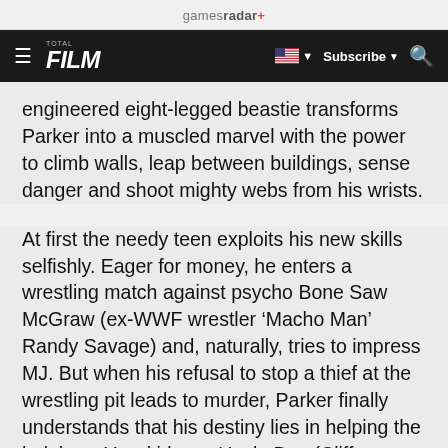gamesradar+
FILM | Subscribe | Search
engineered eight-legged beastie transforms Parker into a muscled marvel with the power to climb walls, leap between buildings, sense danger and shoot mighty webs from his wrists.
At first the needy teen exploits his new skills selfishly. Eager for money, he enters a wrestling match against psycho Bone Saw McGraw (ex-WWF wrestler 'Macho Man' Randy Savage) and, naturally, tries to impress MJ. But when his refusal to stop a thief at the wrestling pit leads to murder, Parker finally understands that his destiny lies in helping the helpless. Yes, kids, as Uncle Ben (Cliff Robertson) says: